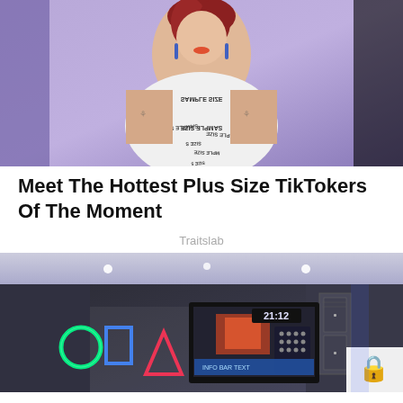[Figure (photo): A plus-size woman with red hair and tattoos walking a fashion runway, wearing a white dress printed with 'SAMPLE SIZE' text repeated across it, with a purple background]
Meet The Hottest Plus Size TikTokers Of The Moment
Traitslab
[Figure (photo): Interior of a modern gaming or entertainment space with neon light shapes (circle, square, triangle) on the wall and a large screen display showing the time 21:12, with lockers on the right side]